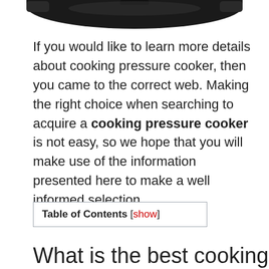[Figure (photo): Partial view of a pressure cooker, dark/black, cropped at top of page]
If you would like to learn more details about cooking pressure cooker, then you came to the correct web. Making the right choice when searching to acquire a cooking pressure cooker is not easy, so we hope that you will make use of the information presented here to make a well informed selection.
What is the best cooking